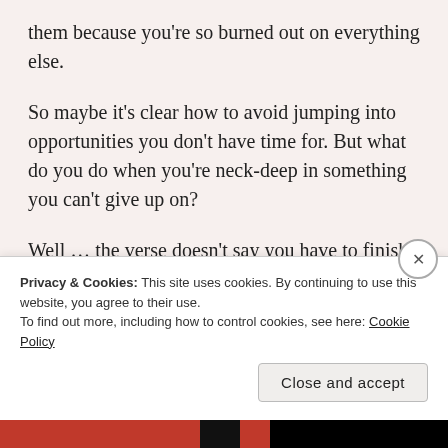them because you're so burned out on everything else.
So maybe it's clear how to avoid jumping into opportunities you don't have time for. But what do you do when you're neck-deep in something you can't give up on?
Well … the verse doesn't say you have to finish it, I guess. It just says to make the most of it.
Do your best. Prioritize. Step back from the whole
Privacy & Cookies: This site uses cookies. By continuing to use this website, you agree to their use.
To find out more, including how to control cookies, see here: Cookie Policy
Close and accept